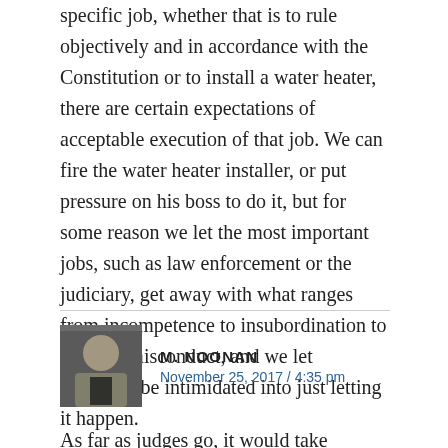specific job, whether that is to rule objectively and in accordance with the Constitution or to install a water heater, there are certain expectations of acceptable execution of that job. We can fire the water heater installer, or put pressure on his boss to do it, but for some reason we let the most important jobs, such as law enforcement or the judiciary, get away with what ranges from incompetence to insubordination to outright misconduct, and we let ourselves be intimidated into just letting it happen.
M. NOONAN
November 25, 2017 / 4:35 pm
As far as judges go, it would take amendment: